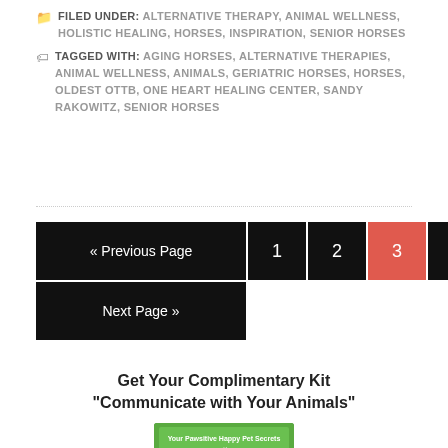FILED UNDER: ALTERNATIVE THERAPY, ANIMAL WELLNESS, HOLISTIC HEALING, HORSES, INSPIRATION, SENIOR HORSES
TAGGED WITH: AGING HORSES, ALTERNATIVE THERAPIES, ANIMAL WELLNESS, ANIMALS, GERIATRIC HORSES, HORSES, OLDEST OTTB, ONE HEART HEALING CENTER, SANDY RAKOWITZ, SENIOR HORSES
« Previous Page  1  2  3  4  5  ...  15  Next Page »
Get Your Complimentary Kit "Communicate with Your Animals"
[Figure (photo): Green product kit box for 'Communicate with Your Animals' promotional offer]